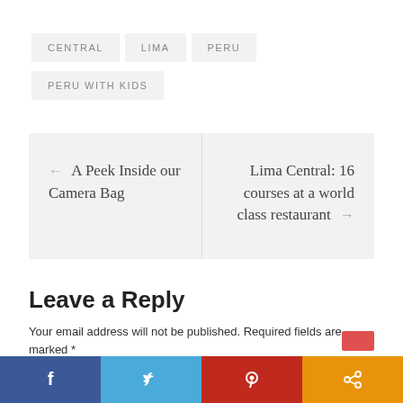CENTRAL
LIMA
PERU
PERU WITH KIDS
← A Peek Inside our Camera Bag
Lima Central: 16 courses at a world class restaurant →
Leave a Reply
Your email address will not be published. Required fields are marked *